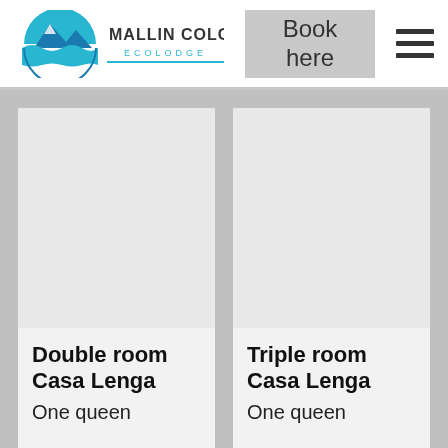[Figure (logo): Mallin Colorado Ecolodge logo with mountain/water graphic in teal and blue]
Book here
[Figure (other): Hamburger menu icon (three horizontal lines)]
[Figure (photo): Photo placeholder for Double room Casa Lenga]
Double room Casa Lenga
One queen
[Figure (photo): Photo placeholder for Triple room Casa Lenga]
Triple room Casa Lenga
One queen